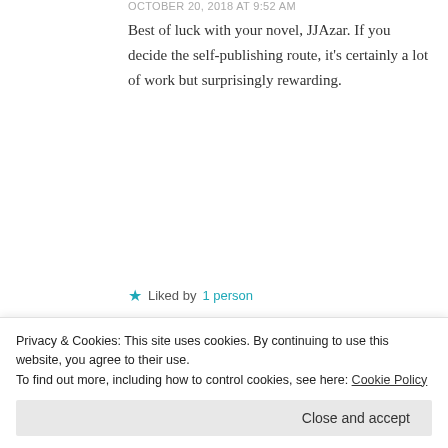OCTOBER 20, 2018 AT 9:52 AM
Best of luck with your novel, JJAzar. If you decide the self-publishing route, it's certainly a lot of work but surprisingly rewarding.
★ Liked by 1 person
REPLY
wlancehunt
Privacy & Cookies: This site uses cookies. By continuing to use this website, you agree to their use.
To find out more, including how to control cookies, see here: Cookie Policy
Close and accept
research and breadth of ideas, but that you